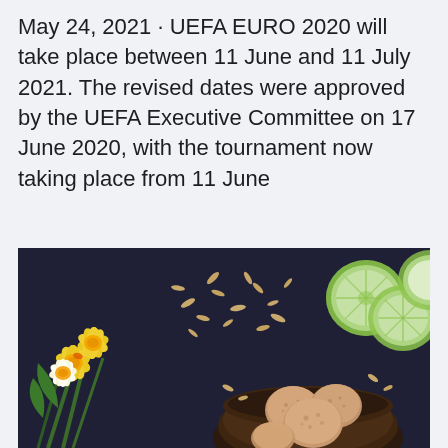May 24, 2021 · UEFA EURO 2020 will take place between 11 June and 11 July 2021. The revised dates were approved by the UEFA Executive Committee on 17 June 2020, with the tournament now taking place from 11 June
[Figure (photo): Dark background flat lay photo showing yellow daffodil flowers on the left, scattered almond nuts in the center, sliced lemons in the top right, and cookies/biscuits in a dark bowl at the bottom right.]